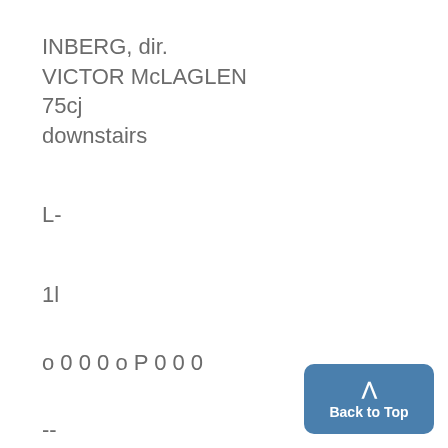INBERG, dir.
VICTOR McLAGLEN
75cj
downstairs
L-
1l
o 0 0 0 o P 0 0 0
--